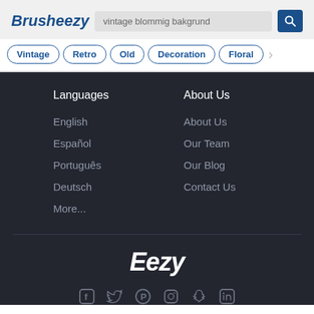Brusheezy
vintage blommig bakgrund
Vintage
Retro
Old
Decoration
Floral
Languages
About Us
English
About Us
Español
Our Team
Português
Our Blog
Deutsch
Contact Us
More...
Eezy
[Figure (illustration): Social media icons row: Facebook, Twitter, Pinterest, Instagram, Snapchat, LinkedIn]